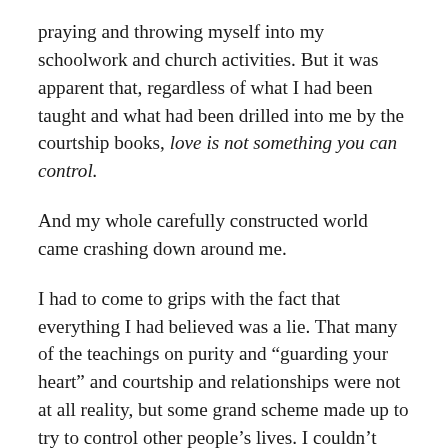praying and throwing myself into my schoolwork and church activities. But it was apparent that, regardless of what I had been taught and what had been drilled into me by the courtship books, love is not something you can control.
And my whole carefully constructed world came crashing down around me.
I had to come to grips with the fact that everything I had believed was a lie. That many of the teachings on purity and “guarding your heart” and courtship and relationships were not at all reality, but some grand scheme made up to try to control other people’s lives. I couldn’t even find these ideas in my well-worn Bible, nor logically work them out in my head. Yet I knew that if my parents had any inkling of what was swirling around my